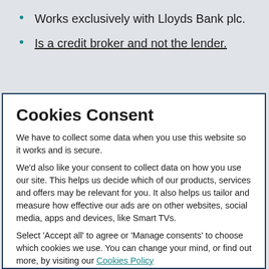Works exclusively with Lloyds Bank plc.
Is a credit broker and not the lender.
Cookies Consent
We have to collect some data when you use this website so it works and is secure.
We'd also like your consent to collect data on how you use our site. This helps us decide which of our products, services and offers may be relevant for you. It also helps us tailor and measure how effective our ads are on other websites, social media, apps and devices, like Smart TVs.
Select 'Accept all' to agree or 'Manage consents' to choose which cookies we use. You can change your mind, or find out more, by visiting our Cookies Policy